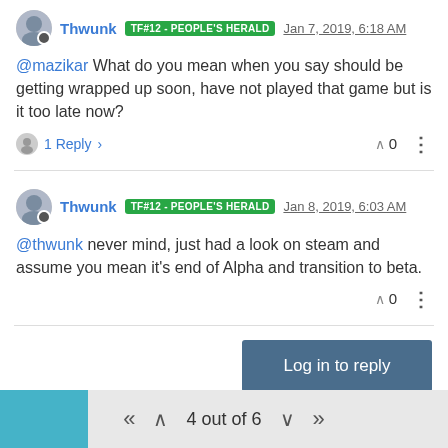Thwunk TF#12 - PEOPLE'S HERALD Jan 7, 2019, 6:18 AM
@mazikar What do you mean when you say should be getting wrapped up soon, have not played that game but is it too late now?
1 Reply  ∧ 0 ⋮
Thwunk TF#12 - PEOPLE'S HERALD Jan 8, 2019, 6:03 AM
@thwunk never mind, just had a look on steam and assume you mean it's end of Alpha and transition to beta.
∧ 0 ⋮
Log in to reply
4 out of 6